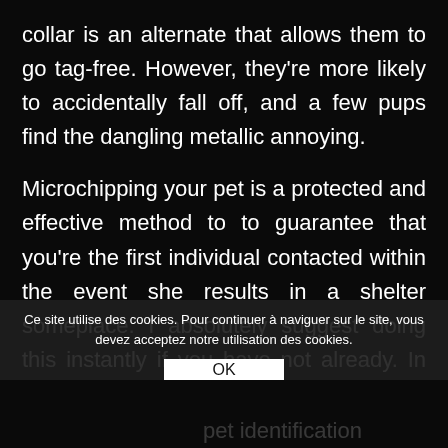collar is an alternate that allows them to go tag-free. However, they're more likely to accidentally fall off, and a few pups find the dangling metallic annoying.
Microchipping your pet is a protected and effective method to to guarantee that you're the first individual contacted within the event she results in a shelter someplace. I absolutely suggest doing this instantly if you have not already. In truth, any respected breeder will require a microchip earlier than they will send you residence together with your canine comp[anion, f]ollowing your local authorities neces[sary] pet identification
Ce site utilise des cookies. Pour continuer à naviguer sur le site, vous devez acceptez notre utilisation des cookies.
OK